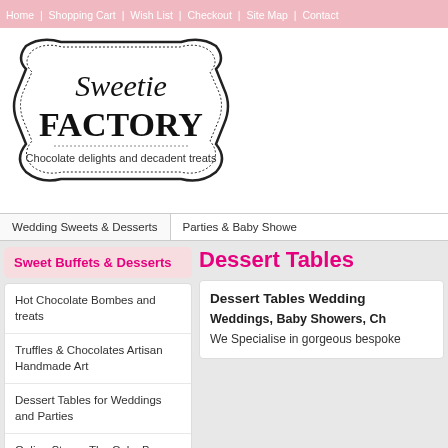Home | Shopping Cart | Wish List | Checkout | Site Map | Contact
[Figure (logo): Sweetie Factory logo — decorative badge shape with script 'Sweetie' above bold serif 'FACTORY', tagline 'Chocolate delights and decadent treats']
Wedding Sweets & Desserts | Parties & Baby Showers
Sweet Buffets & Desserts
Hot Chocolate Bombes and treats
Truffles & Chocolates Artisan Handmade Art
Dessert Tables for Weddings and Parties
Online Store - The Cake Box
Dessert Tables
Dessert Tables Wedding
Weddings, Baby Showers, Ch
We Specialise in gorgeous bespoke